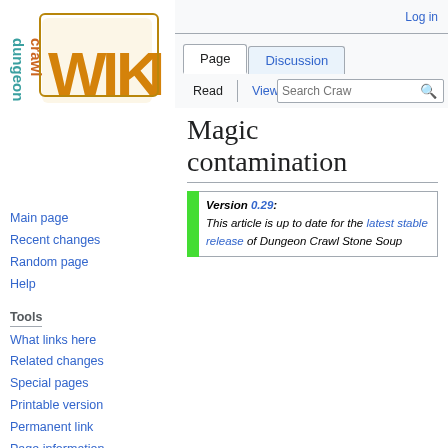Log in
[Figure (logo): Dungeon Crawl Stone Soup wiki logo with stylized WIKI text in orange and 'dungeon crawl' text in teal and orange vertical orientation]
Main page
Recent changes
Random page
Help
Tools
What links here
Related changes
Special pages
Printable version
Permanent link
Page information
Browse properties
Magic contamination
Version 0.29: This article is up to date for the latest stable release of Dungeon Crawl Stone Soup